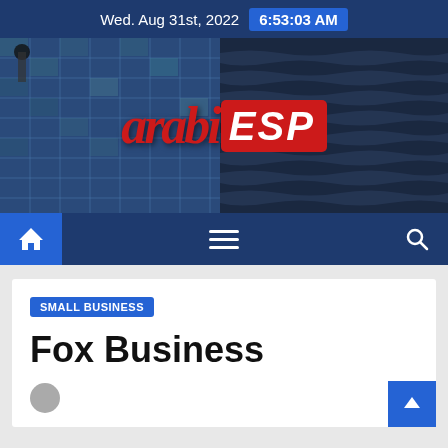Wed. Aug 31st, 2022  6:53:03 AM
[Figure (logo): ArabiESP website logo on dark blue building background hero banner]
[Figure (infographic): Navigation bar with home icon (blue highlighted), hamburger menu, and search icon on dark blue background]
SMALL BUSINESS
Fox Business